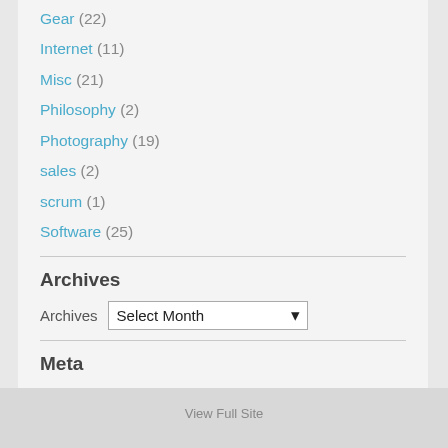Gear (22)
Internet (11)
Misc (21)
Philosophy (2)
Photography (19)
sales (2)
scrum (1)
Software (25)
Archives
Archives  Select Month
Meta
Log in
Entries RSS
Comments RSS
WordPress.org
View Full Site